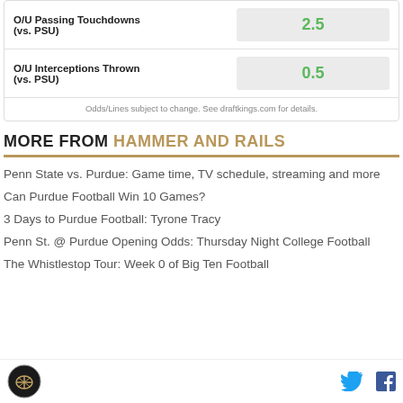| Prop | Value |
| --- | --- |
| O/U Passing Touchdowns (vs. PSU) | 2.5 |
| O/U Interceptions Thrown (vs. PSU) | 0.5 |
Odds/Lines subject to change. See draftkings.com for details.
MORE FROM HAMMER AND RAILS
Penn State vs. Purdue: Game time, TV schedule, streaming and more
Can Purdue Football Win 10 Games?
3 Days to Purdue Football: Tyrone Tracy
Penn St. @ Purdue Opening Odds: Thursday Night College Football
The Whistlestop Tour: Week 0 of Big Ten Football
Hammer and Rails logo, Twitter and Facebook icons